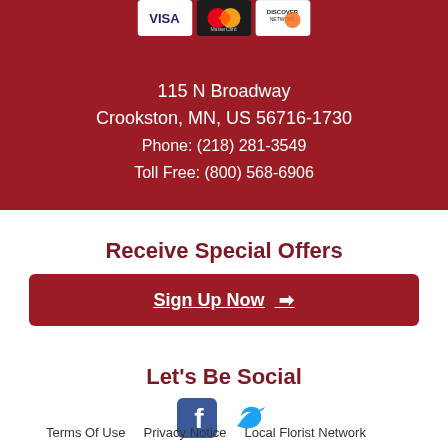[Figure (logo): Payment card logos: Visa, MasterCard, Discover]
115 N Broadway
Crookston, MN, US 56716-1730
Phone: (218) 281-3549
Toll Free: (800) 568-6906
Receive Special Offers
Sign Up Now →
Let's Be Social
[Figure (logo): Facebook and Twitter social media icons]
Terms Of Use   Privacy Notice   Local Florist Network